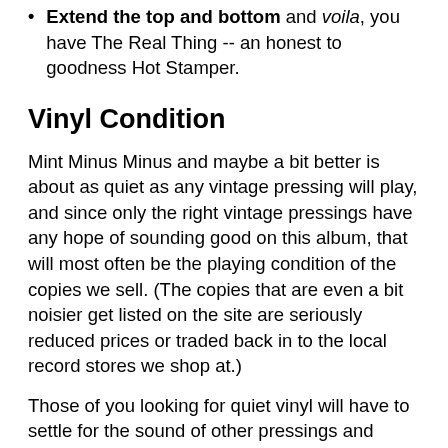Extend the top and bottom and voila, you have The Real Thing -- an honest to goodness Hot Stamper.
Vinyl Condition
Mint Minus Minus and maybe a bit better is about as quiet as any vintage pressing will play, and since only the right vintage pressings have any hope of sounding good on this album, that will most often be the playing condition of the copies we sell. (The copies that are even a bit noisier get listed on the site are seriously reduced prices or traded back in to the local record stores we shop at.)
Those of you looking for quiet vinyl will have to settle for the sound of other pressings and Heavy Vinyl reissues, purchased elsewhere of course as we have no interest in selling records that don't have the